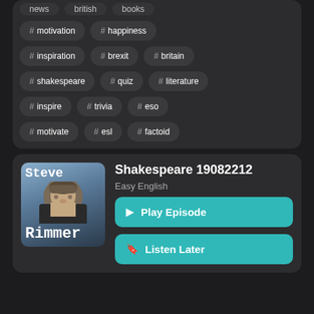# news  # british  # books
# motivation  # happiness
# inspiration  # brexit  # britain
# shakespeare  # quiz  # literature
# inspire  # trivia  # eso
# motivate  # esl  # factoid
[Figure (photo): Podcast thumbnail showing a man named Steve Rimmer against an outdoor background]
Shakespeare 19082212
Easy English
▶ Play Episode
🔖 Listen Later